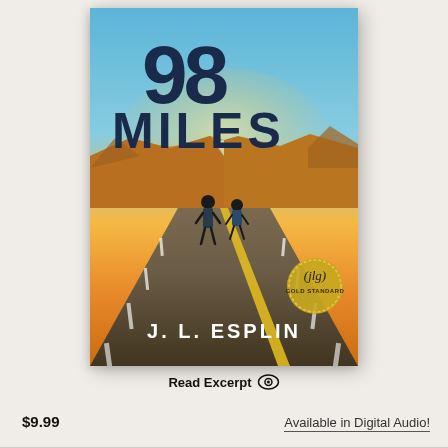[Figure (illustration): Book cover of '98 Miles' by J.L. Esplin. Shows a desert highway scene with two silhouetted figures walking away from the viewer down a straight road. Sky transitions from blue at top to golden yellow near the horizon. Large bold dark blue text at top reads '98 MILES'. Author name 'J. L. ESPLIN' in white text at bottom. JLG Gold Standard seal in lower right.]
Read Excerpt
$9.99
Available in Digital Audio!